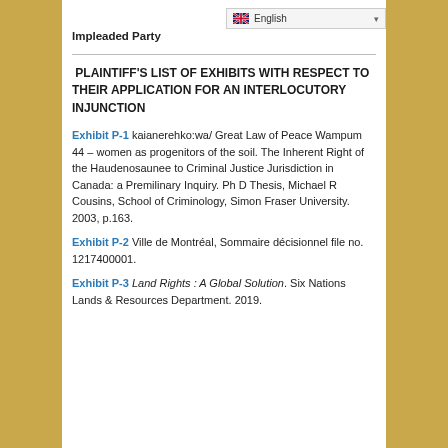Impleaded Party
PLAINTIFF'S LIST OF EXHIBITS WITH RESPECT TO THEIR APPLICATION FOR AN INTERLOCUTORY INJUNCTION
Exhibit P-1 kaianerehko:wa/ Great Law of Peace Wampum 44 – women as progenitors of the soil. The Inherent Right of the Haudenosaunee to Criminal Justice Jurisdiction in Canada: a Premilinary Inquiry. Ph D Thesis, Michael R Cousins, School of Criminology, Simon Fraser University. 2003, p.163.
Exhibit P-2 Ville de Montréal, Sommaire décisionnel file no. 1217400001.
Exhibit P-3 Land Rights : A Global Solution. Six Nations Lands & Resources Department. 2019.